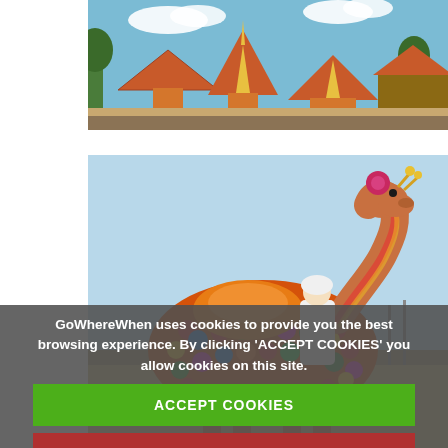[Figure (photo): Thai temple complex with golden spires and ornate rooftops against a blue sky, partially visible at top of page]
[Figure (photo): A decorated camel with colorful pom-pom embellishments and an orange saddle blanket, with a rider in white clothing, against a desert/open landscape background]
GoWhereWhen uses cookies to provide you the best browsing experience. By clicking 'ACCEPT COOKIES' you allow cookies on this site.
ACCEPT COOKIES
DECLINE COOKIES
What are cookies?
The Jaisalmer features.